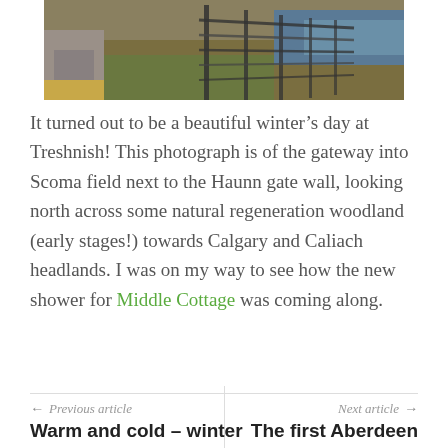[Figure (photo): Partial view of a metal gate/fence in a rural field with dry grasses and natural landscape, looking north toward water and headlands on a clear winter day.]
It turned out to be a beautiful winter's day at Treshnish! This photograph is of the gateway into Scoma field next to the Haunn gate wall, looking north across some natural regeneration woodland (early stages!) towards Calgary and Caliach headlands. I was on my way to see how the new shower for Middle Cottage was coming along.
← Previous article
Warm and cold – winter
Next article →
The first Aberdeen